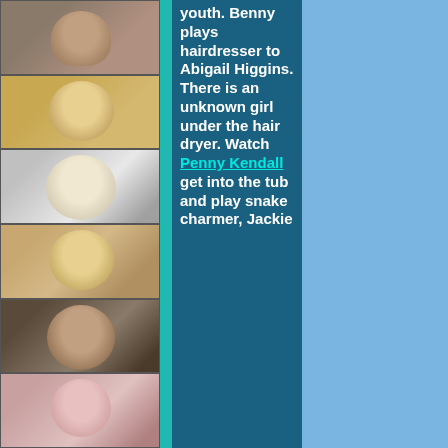[Figure (photo): Column of 6 small portrait photos along the left side of the page, showing various people.]
youth. Benny plays hairdresser to Abigail Higgins. There is an unknown girl under the hair dryer. Watch Penny Kendall get into the tub and play snake charmer, Jackie